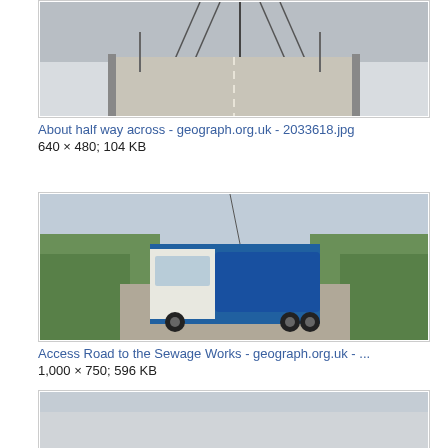[Figure (photo): Photo of a bridge road surface viewed from driving perspective, suspension cables visible overhead, overcast sky]
About half way across - geograph.org.uk - 2033618.jpg
640 × 480; 104 KB
[Figure (photo): Photo of a blue tanker/sewage truck on a narrow road surrounded by green vegetation]
Access Road to the Sewage Works - geograph.org.uk - ...
1,000 × 750; 596 KB
[Figure (photo): Partial photo visible at bottom of page (third image, mostly cut off)]